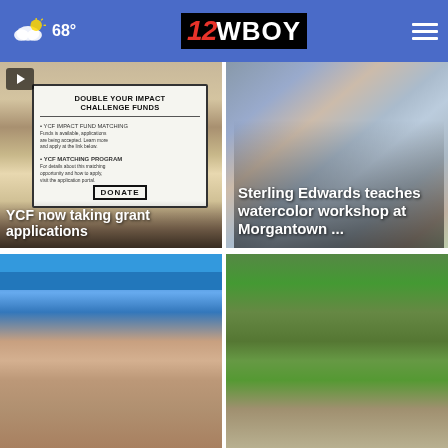12WBOY — 68°
[Figure (photo): Sign reading DOUBLE YOUR IMPACT CHALLENGE FUNDS with donation text]
YCF now taking grant applications
[Figure (photo): People at tables doing watercolor painting at a workshop]
Sterling Edwards teaches watercolor workshop at Morgantown ...
[Figure (photo): Blue news banner with man's face below — mugshot style]
[Figure (photo): Green trees outdoors — video with play button]